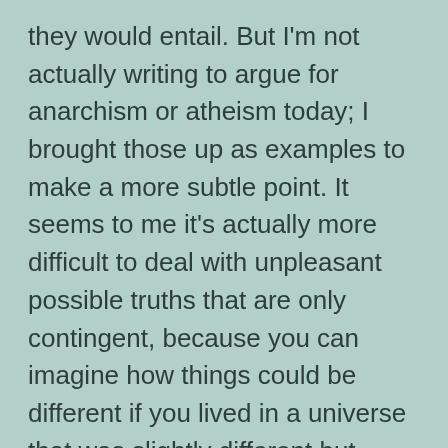they would entail. But I'm not actually writing to argue for anarchism or atheism today; I brought those up as examples to make a more subtle point. It seems to me it's actually more difficult to deal with unpleasant possible truths that are only contingent, because you can imagine how things could be different if you lived in a universe that was slightly different but recognizable.
I'll give two examples of this that I'm still struggling with. One: I fear feminism may be dangerously wrong. Two: I fear that the crowd calling for the abolition of all forms of